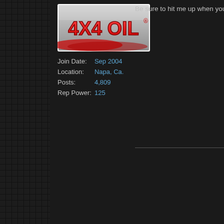[Figure (logo): 4X4 OIL logo with red flame text on silver/metallic background]
Join Date: Sep 2004
Location: Napa, Ca.
Posts: 4,809
Rep Power: 125
Be sure to hit me up when you ne
Re: Aussie Locker's NEW Aluminum Dana 44 Locker!
AussieLocker
Member
Join Date: Nov 2005
Location: Rochester, NY
11-23-2005, 03:03 PM
The XD14450 Aussie Lockers for promised.
The picture of the...